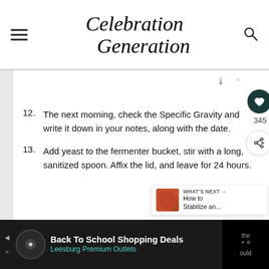Celebration Generation
12. The next morning, check the Specific Gravity and write it down in your notes, along with the date.
13. Add yeast to the fermenter bucket, stir with a long, sanitized spoon. Affix the lid, and leave for 24 hours.
Back To School Shopping Deals Leesburg Premium Outlets